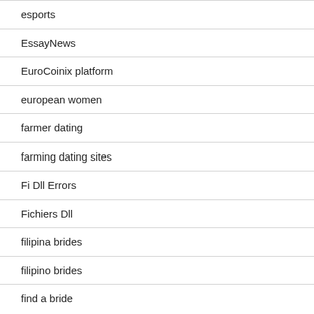esports
EssayNews
EuroCoinix platform
european women
farmer dating
farming dating sites
Fi Dll Errors
Fichiers Dll
filipina brides
filipino brides
find a bride